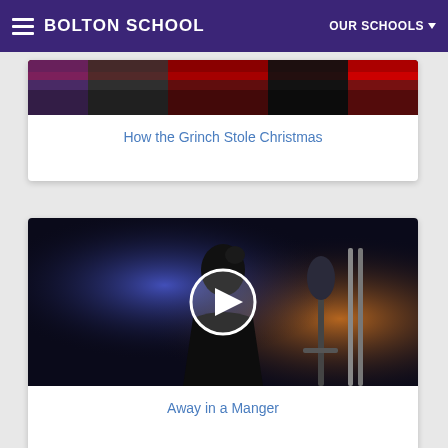BOLTON SCHOOL
How the Grinch Stole Christmas
[Figure (photo): Video thumbnail showing a performer on a dark stage with blue and orange lighting, a microphone in the foreground, and a play button overlay]
Away in a Manger